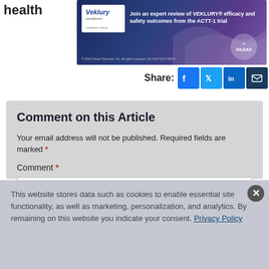health
[Figure (screenshot): Veklury (remdesivir) advertisement banner: 'Join an expert review of VEKLURY efficacy and safety outcomes from the ACTT-1 trial' with Gilead logo]
[Figure (screenshot): Share bar with Facebook, Twitter, LinkedIn, and Email icons]
Comment on this Article
Your email address will not be published. Required fields are marked *
Comment *
This website stores data such as cookies to enable essential site functionality, as well as marketing, personalization, and analytics. By remaining on this website you indicate your consent. Privacy Policy